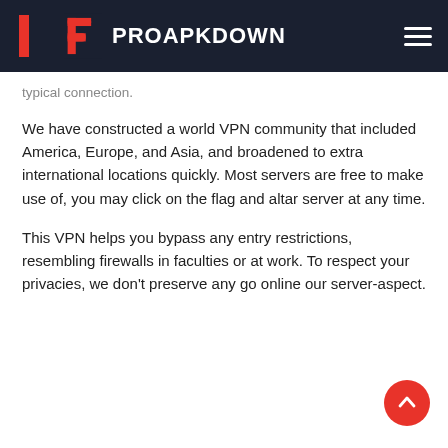PROAPKDOWN
typical connection.
We have constructed a world VPN community that included America, Europe, and Asia, and broadened to extra international locations quickly. Most servers are free to make use of, you may click on the flag and altar server at any time.
This VPN helps you bypass any entry restrictions, resembling firewalls in faculties or at work. To respect your privacies, we don't preserve any go online our server-aspect.